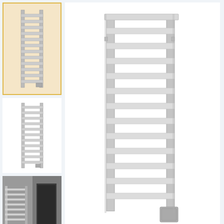[Figure (photo): Main product photo: Amba Products Vega Collection towel warmer - a tall brushed stainless steel ladder-style towel warmer with 12 horizontal bars, shown in 3/4 perspective view with an electrical connection box at bottom right]
[Figure (photo): Thumbnail 1 (selected/highlighted): Small view of the towel warmer product in brushed finish]
[Figure (photo): Thumbnail 2: Alternate view of the towel warmer showing front face]
[Figure (photo): Thumbnail 3: Photo of towel warmer installed on a bathroom wall]
Amba Products Vega Collection V2356B 12-Bar Hardwired Towel Warmer - 3.625 X 26.25 X 57.75 In. - Brushed Finish
✓ Available to Order
LIST PRICE: $2,279.00
Brand: Amba Products